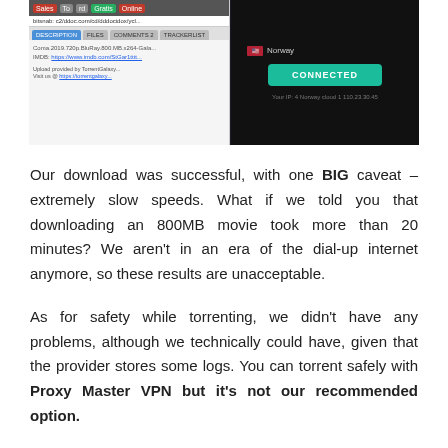[Figure (screenshot): Screenshot showing a torrent site interface on the left with tabs (DESCRIPTION, FILES, COMMENTS, TRACKERLIST) and file info, and a VPN connection panel on the right with a CONNECTED button and Norway flag.]
Our download was successful, with one BIG caveat – extremely slow speeds. What if we told you that downloading an 800MB movie took more than 20 minutes? We aren't in an era of the dial-up internet anymore, so these results are unacceptable.
As for safety while torrenting, we didn't have any problems, although we technically could have, given that the provider stores some logs. You can torrent safely with Proxy Master VPN but it's not our recommended option.
Can I Use Proxy Master VPN to Bypass Censorship?